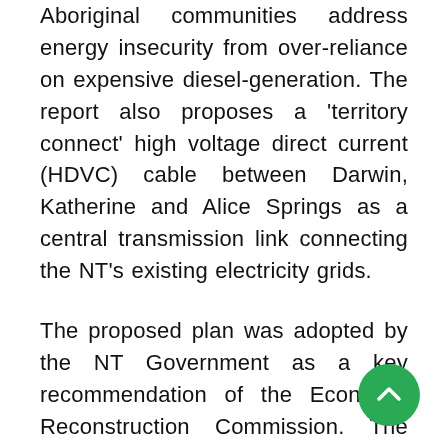Aboriginal communities address energy insecurity from over-reliance on expensive diesel-generation. The report also proposes a 'territory connect' high voltage direct current (HDVC) cable between Darwin, Katherine and Alice Springs as a central transmission link connecting the NT's existing electricity grids.
The proposed plan was adopted by the NT Government as a key recommendation of the Economic Reconstruction Commission. The model is also being considered by Indigenous communities developing solar grids in Central Australia, Barkley and Gulf regions.